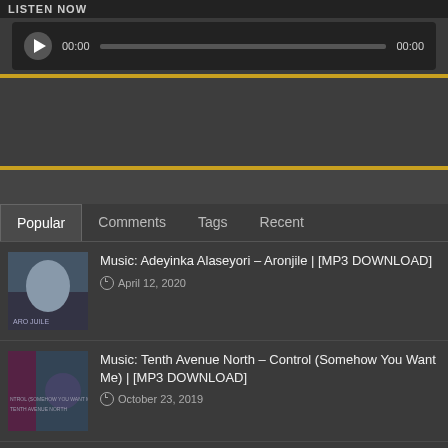LISTEN NOW
[Figure (screenshot): Audio player with play button, time display 00:00, progress bar, and end time 00:00]
[Figure (screenshot): Dark advertisement/content area section]
[Figure (screenshot): Dark section]
Popular | Comments | Tags | Recent
Music: Adeyinka Alaseyori – Aronjile | [MP3 DOWNLOAD]
April 12, 2020
Music: Tenth Avenue North – Control (Somehow You Want Me) | [MP3 DOWNLOAD]
October 23, 2019
Music: Kim Walker Smith – Jesus Paid It All | [MP3 DOWNLOAD]